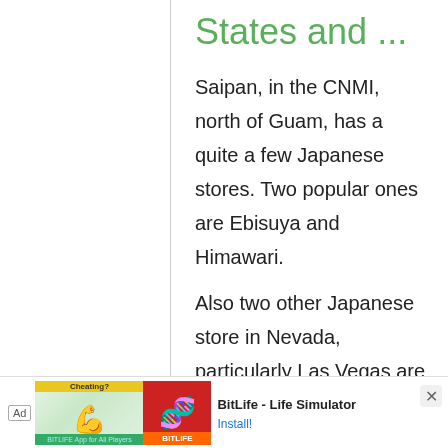States and ...
Saipan, in the CNMI, north of Guam, has a quite a few Japanese stores. Two popular ones are Ebisuya and Himawari.
Also two other Japanese store in Nevada, particularly Las Vegas are Nakata
[Figure (screenshot): Mobile advertisement banner for BitLife - Life Simulator app, showing Ad label, promotional image with muscular arm graphic (Cheating? text), BitLife app icon, app name, and Install button]